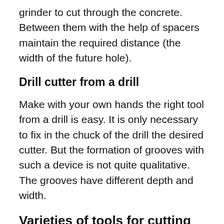grinder to cut through the concrete. Between them with the help of spacers maintain the required distance (the width of the future hole).
Drill cutter from a drill
Make with your own hands the right tool from a drill is easy. It is only necessary to fix in the chuck of the drill the desired cutter. But the formation of grooves with such a device is not quite qualitative. The grooves have different depth and width.
Varieties of tools for cutting concrete